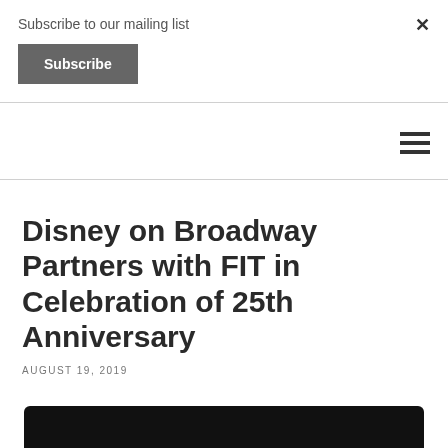Subscribe to our mailing list
Subscribe
×
Disney on Broadway Partners with FIT in Celebration of 25th Anniversary
AUGUST 19, 2019
[Figure (photo): Dark image strip at bottom, partial view of article photo]